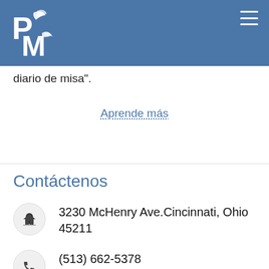[Figure (logo): PM logo with bird and leaf motif on blue header background]
diario de misa".
Aprende más
Contáctenos
3230 McHenry Ave.Cincinnati, Ohio 45211
(513) 662-5378